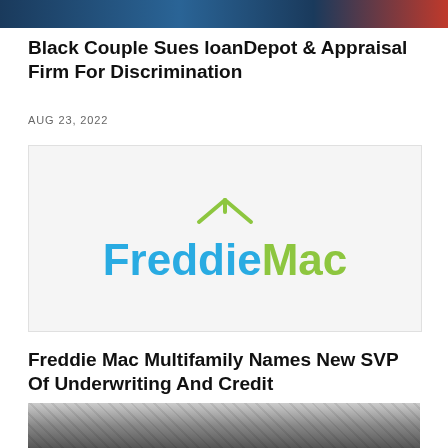[Figure (photo): Top banner image strip showing a partial photo]
Black Couple Sues loanDepot & Appraisal Firm For Discrimination
AUG 23, 2022
[Figure (logo): Freddie Mac logo with house icon above text. 'Freddie' in blue and 'Mac' in green.]
Freddie Mac Multifamily Names New SVP Of Underwriting And Credit
AUG 23, 2022
[Figure (photo): Partial photo at bottom of page, appears to be a close-up black and white image]